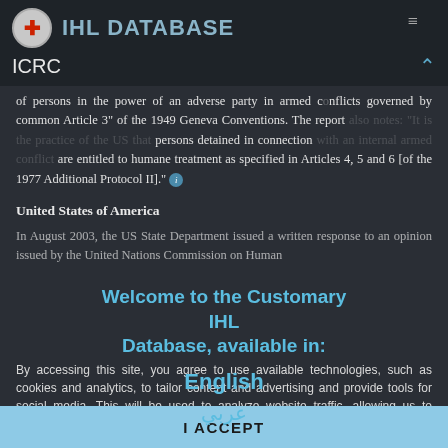IHL DATABASE — ICRC
of persons in the power of an adverse party in armed conflicts governed by common Article 3" of the 1949 Geneva Conventions. The report also notes: "It is the practice of the US that persons detained in connection with an internal armed conflict are entitled to humane treatment as specified in Articles 4, 5 and 6 [of the 1977 Additional Protocol II]."
United States of America
In August 2003, the US State Department issued a written response to an opinion issued by the United Nations Commission on Human
[Figure (screenshot): Overlay modal: Welcome to the Customary IHL Database, available in: English / Arabic (عربي)]
By accessing this site, you agree to use available technologies, such as cookies and analytics, to tailor content and advertising and provide tools for social media. This will be used to analyze website traffic, allowing us to understand visitor trends and improve our services. Learn more
I ACCEPT